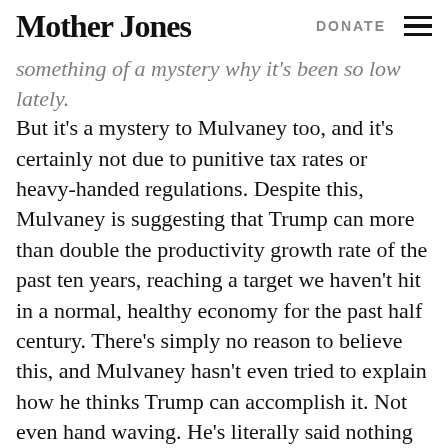Mother Jones | DONATE
something of a mystery why it's been so low lately. But it's a mystery to Mulvaney too, and it's certainly not due to punitive tax rates or heavy-handed regulations. Despite this, Mulvaney is suggesting that Trump can more than double the productivity growth rate of the past ten years, reaching a target we haven't hit in a normal, healthy economy for the past half century. There's simply no reason to believe this, and Mulvaney hasn't even tried to explain how he thinks Trump can accomplish it. Not even hand waving. He's literally said nothing about productivity growth at all.
Until he does, nobody should believe his growth estimates. It all comes down to productivity, and